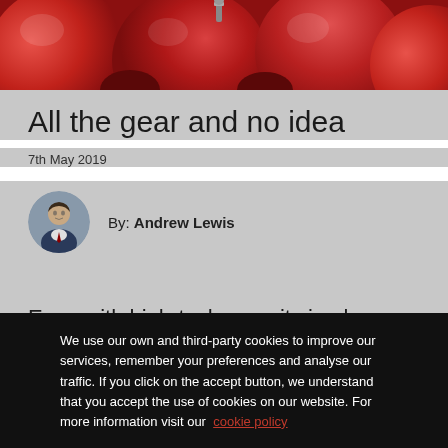[Figure (photo): Close-up photo of red apples with a metallic stem/hook visible]
All the gear and no idea
7th May 2019
By: Andrew Lewis
Even with high-tech security in place, many companies still suffer cyber attacks due to
We use our own and third-party cookies to improve our services, remember your preferences and analyse our traffic. If you click on the accept button, we understand that you accept the use of cookies on our website. For more information visit our cookie policy